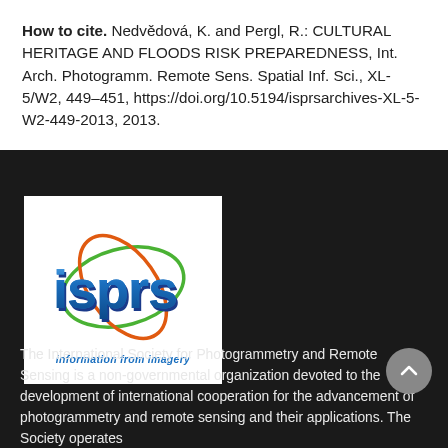How to cite. Nedvědová, K. and Pergl, R.: CULTURAL HERITAGE AND FLOODS RISK PREPAREDNESS, Int. Arch. Photogramm. Remote Sens. Spatial Inf. Sci., XL-5/W2, 449–451, https://doi.org/10.5194/isprsarchives-XL-5-W2-449-2013, 2013.
[Figure (logo): ISPRS logo — blue 'isprs' text with green and orange orbital ellipses, tagline 'information from imagery' in blue italic below]
The International Society for Photogrammetry and Remote Sensing is a non-governmental organization devoted to the development of international cooperation for the advancement of photogrammetry and remote sensing and their applications. The Society operates